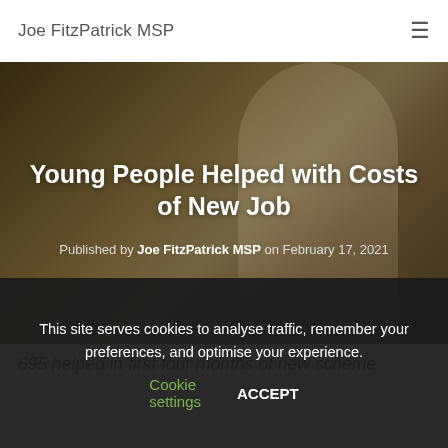Joe FitzPatrick MSP
[Figure (photo): Hero image: woman smiling, seated indoors, with dark overlay. Used as article header background.]
Young People Helped with Costs of New Job
Published by Joe FitzPatrick MSP on February 17, 2021
695 helped in first four months of new scheme
This site serves cookies to analyse traffic, remember your preferences, and optimise your experience. Cookie settings ACCEPT